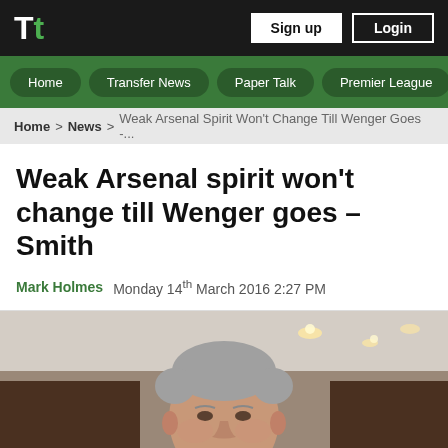Tt | Sign up | Login
Home | Transfer News | Paper Talk | Premier League
Home > News > Weak Arsenal Spirit Won't Change Till Wenger Goes -...
Weak Arsenal spirit won't change till Wenger goes – Smith
Mark Holmes   Monday 14th March 2016 2:27 PM
[Figure (photo): Photo of Arsène Wenger, a grey-haired man in a dark jacket, in an indoor setting with ceiling lights in the background]